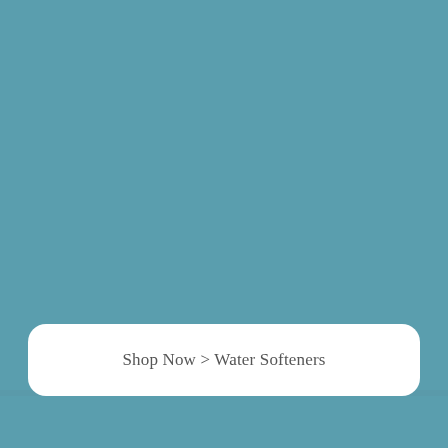[Figure (illustration): Large teal/muted blue-green background filling most of the image area]
Shop Now > Water Softeners